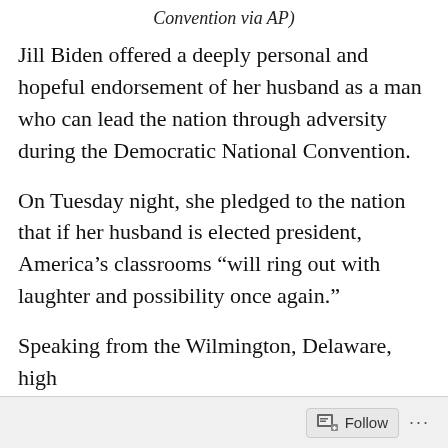Convention via AP)
Jill Biden offered a deeply personal and hopeful endorsement of her husband as a man who can lead the nation through adversity during the Democratic National Convention.
On Tuesday night, she pledged to the nation that if her husband is elected president, America’s classrooms “will ring out with laughter and possibility once again.”
Speaking from the Wilmington, Delaware, high
Follow ...